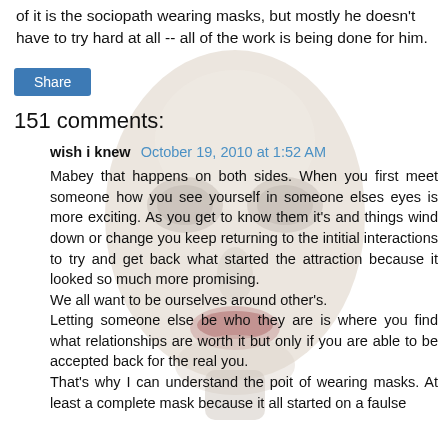of it is the sociopath wearing masks, but mostly he doesn't have to try hard at all -- all of the work is being done for him.
[Figure (illustration): A white blank face mask (mannequin-like face) centered on the page as a background image overlay]
Share
151 comments:
wish i knew  October 19, 2010 at 1:52 AM
Mabey that happens on both sides. When you first meet someone how you see yourself in someone elses eyes is more exciting. As you get to know them it's and things wind down or change you keep returning to the intitial interactions to try and get back what started the attraction because it looked so much more promising.
We all want to be ourselves around other's.
Letting someone else be who they are is where you find what relationships are worth it but only if you are able to be accepted back for the real you.
That's why I can understand the poit of wearing masks. At least a complete mask because it all started on a faulse ...